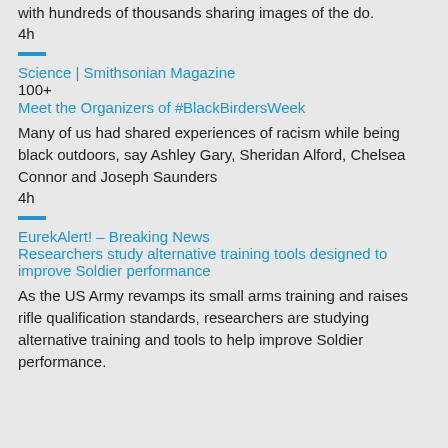with hundreds of thousands sharing images of the do.
4h
Science | Smithsonian Magazine
100+
Meet the Organizers of #BlackBirdersWeek
Many of us had shared experiences of racism while being black outdoors, say Ashley Gary, Sheridan Alford, Chelsea Connor and Joseph Saunders
4h
EurekAlert! – Breaking News
Researchers study alternative training tools designed to improve Soldier performance
As the US Army revamps its small arms training and raises rifle qualification standards, researchers are studying alternative training and tools to help improve Soldier performance.